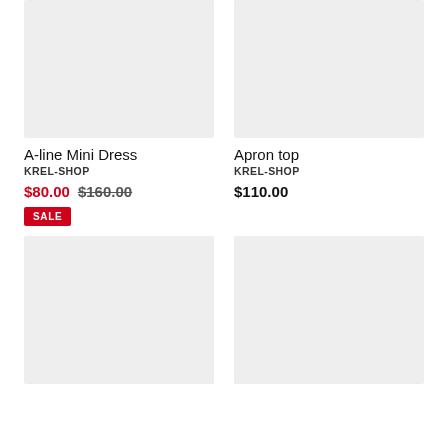[Figure (photo): Product image placeholder for A-line Mini Dress, light gray rectangle]
[Figure (photo): Product image placeholder for Apron top, light gray rectangle]
A-line Mini Dress
KREL-SHOP
$80.00  $160.00
SALE
Apron top
KREL-SHOP
$110.00
[Figure (photo): Product image placeholder, light gray rectangle, bottom left]
[Figure (photo): Product image placeholder, light gray rectangle, bottom right]